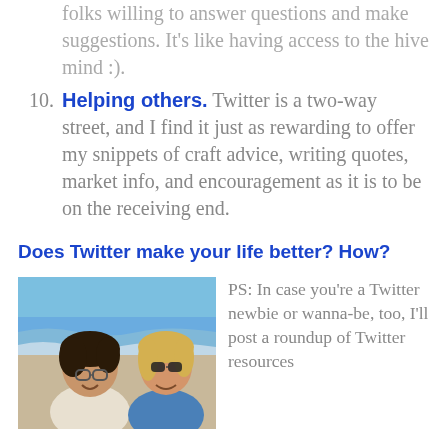folks willing to answer questions and make suggestions. It’s like having access to the hive mind :).
10. Helping others. Twitter is a two-way street, and I find it just as rewarding to offer my snippets of craft advice, writing quotes, market info, and encouragement as it is to be on the receiving end.
Does Twitter make your life better? How?
[Figure (photo): Two women taking a selfie at the beach, smiling, one wearing glasses and a white sweater, the other wearing sunglasses and a blue jacket, with ocean waves and sky in the background.]
PS: In case you’re a Twitter newbie or wanna-be, too, I’ll post a roundup of Twitter resources